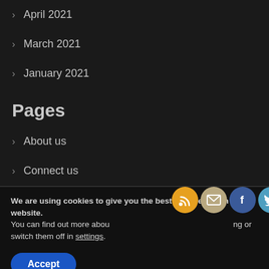> April 2021
> March 2021
> January 2021
Pages
> About us
> Connect us
> Privacy Policy
We are using cookies to give you the best experience on our website.
You can find out more about which cookies we are using or switch them off in settings.
[Figure (infographic): Social media icons: RSS (orange), email (beige), Facebook (blue), Twitter (light blue)]
Accept